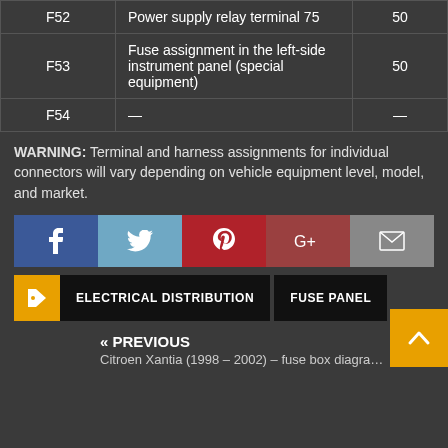| Fuse | Description | Rating (A) |
| --- | --- | --- |
| F52 | Power supply relay terminal 75 | 50 |
| F53 | Fuse assignment in the left-side instrument panel (special equipment) | 50 |
| F54 | — | — |
WARNING: Terminal and harness assignments for individual connectors will vary depending on vehicle equipment level, model, and market.
[Figure (infographic): Social sharing bar with Facebook, Twitter, Pinterest, Google+, and Email buttons]
ELECTRICAL DISTRIBUTION   FUSE PANEL
« PREVIOUS
Citroen Xantia (1998 – 2002) – fuse box diagram